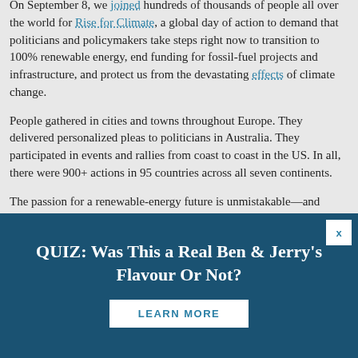On September 8, we joined hundreds of thousands of people all over the world for Rise for Climate, a global day of action to demand that politicians and policymakers take steps right now to transition to 100% renewable energy, end funding for fossil-fuel projects and infrastructure, and protect us from the devastating effects of climate change.
People gathered in cities and towns throughout Europe. They delivered personalized pleas to politicians in Australia. They participated in events and rallies from coast to coast in the US. In all, there were 900+ actions in 95 countries across all seven continents.
The passion for a renewable-energy future is unmistakable—and growing. As is the urgency. Simply put, there's no time
[Figure (infographic): Dark teal banner advertisement: 'QUIZ: Was This a Real Ben & Jerry's Flavour Or Not?' with a 'LEARN MORE' button and a close (X) button in the top right corner.]